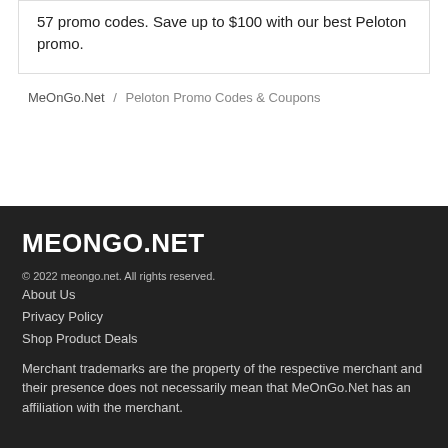57 promo codes. Save up to $100 with our best Peloton promo.
MeOnGo.Net / Peloton Promo Codes & Coupons
MEONGO.NET
© 2022 meongo.net. All rights reserved.
About Us
Privacy Policy
Shop Product Deals
Merchant trademarks are the property of the respective merchant and their presence does not necessarily mean that MeOnGo.Net has an affiliation with the merchant.